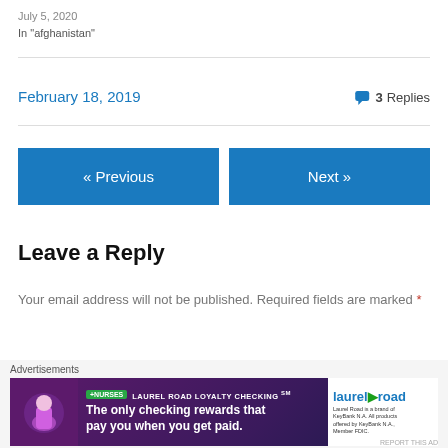July 5, 2020
In "afghanistan"
February 18, 2019
3 Replies
« Previous
Next »
Leave a Reply
Your email address will not be published. Required fields are marked *
Comment *
Advertisements